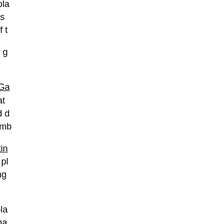We have good friends who pla suburban house, since it was got seems to be the name of t
I've been hunting around for g so far:
Gardener's Supply Kitchen Ga This is an interactive tool that available, and then drag and d planning the garden, it assemb
Martha Stewart's Seed Startin Once you know what you're pl start seedlings or start putting
Hume Seed Planting Chart How much do you need to pla a bit, but I found this chart tha need for a family of four for se starting point.
Please give us a shout if you